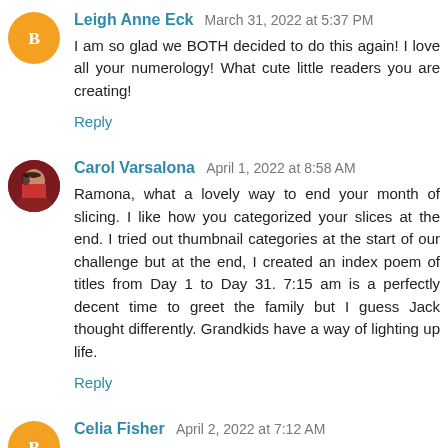Leigh Anne Eck March 31, 2022 at 5:37 PM — I am so glad we BOTH decided to do this again! I love all your numerology! What cute little readers you are creating!
Reply
Carol Varsalona April 1, 2022 at 8:58 AM — Ramona, what a lovely way to end your month of slicing. I like how you categorized your slices at the end. I tried out thumbnail categories at the start of our challenge but at the end, I created an index poem of titles from Day 1 to Day 31. 7:15 am is a perfectly decent time to greet the family but I guess Jack thought differently. Grandkids have a way of lighting up life.
Reply
Celia Fisher April 2, 2022 at 7:12 AM — Love seeing all your photos along the way, especially these ones of your grandsons. Also very impressed with your counting up your slices into categories. I definitely don't